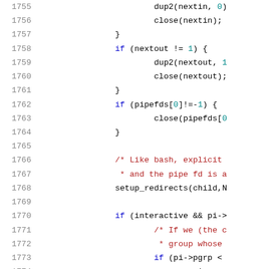[Figure (screenshot): Source code listing showing C code lines 1755-1775 with syntax highlighting. Line numbers in gray on left, code with colored keywords (blue), numbers (teal), comments (dark red), identifiers (black).]